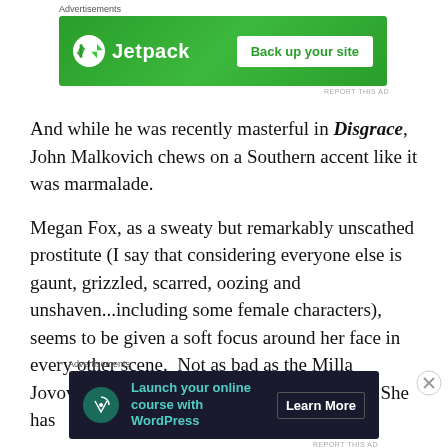[Figure (screenshot): Jetpack advertisement banner with green background, Jetpack logo and 'Back up your site' button]
And while he was recently masterful in Disgrace, John Malkovich chews on a Southern accent like it was marmalade.
Megan Fox, as a sweaty but remarkably unscathed prostitute (I say that considering everyone else is gaunt, grizzled, scarred, oozing and unshaven...including some female characters), seems to be given a soft focus around her face in every other scene.  Not as bad as the Milla Jovovich CG gleam in Ultraviolet, but close.  She has
[Figure (screenshot): WordPress advertisement banner with dark background, 'Launch your online course with WordPress' and 'Learn More' button]